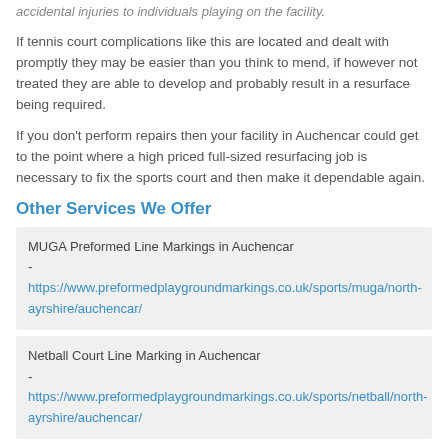accidental injuries to individuals playing on the facility.
If tennis court complications like this are located and dealt with promptly they may be easier than you think to mend, if however not treated they are able to develop and probably result in a resurface being required.
If you don't perform repairs then your facility in Auchencar could get to the point where a high priced full-sized resurfacing job is necessary to fix the sports court and then make it dependable again.
Other Services We Offer
MUGA Preformed Line Markings in Auchencar - https://www.preformedplaygroundmarkings.co.uk/sports/muga/north-ayrshire/auchencar/
Netball Court Line Marking in Auchencar - https://www.preformedplaygroundmarkings.co.uk/sports/netball/north-ayrshire/auchencar/